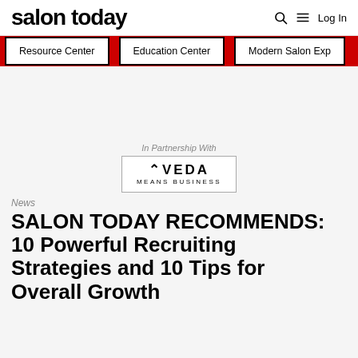salon today
Resource Center
Education Center
Modern Salon Exp
[Figure (logo): Aveda Means Business logo with text 'In Partnership With' above it]
News
SALON TODAY RECOMMENDS: 10 Powerful Recruiting Strategies and 10 Tips for Overall Growth